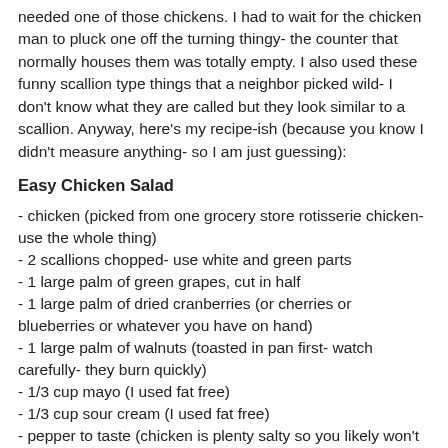needed one of those chickens. I had to wait for the chicken man to pluck one off the turning thingy- the counter that normally houses them was totally empty. I also used these funny scallion type things that a neighbor picked wild- I don't know what they are called but they look similar to a scallion. Anyway, here's my recipe-ish (because you know I didn't measure anything- so I am just guessing):
Easy Chicken Salad
- chicken (picked from one grocery store rotisserie chicken- use the whole thing)
- 2 scallions chopped- use white and green parts
- 1 large palm of green grapes, cut in half
- 1 large palm of dried cranberries (or cherries or blueberries or whatever you have on hand)
- 1 large palm of walnuts (toasted in pan first- watch carefully- they burn quickly)
- 1/3 cup mayo (I used fat free)
- 1/3 cup sour cream (I used fat free)
- pepper to taste (chicken is plenty salty so you likely won't need to add any extra)